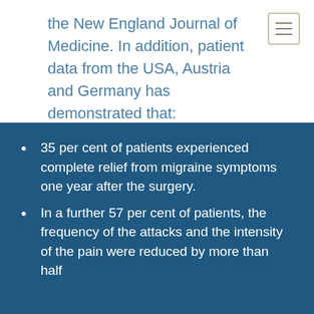the New England Journal of Medicine. In addition, patient data from the USA, Austria and Germany has demonstrated that:
35 per cent of patients experienced complete relief from migraine symptoms one year after the surgery.
In a further 57 per cent of patients, the frequency of the attacks and the intensity of the pain were reduced by more than half